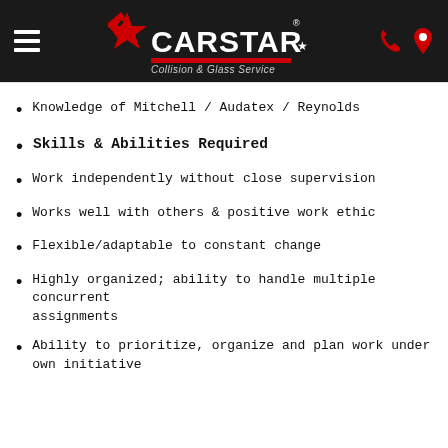CARSTAR Collision & Glass Service
Knowledge of Mitchell / Audatex / Reynolds
Skills & Abilities Required
Work independently without close supervision
Works well with others & positive work ethic
Flexible/adaptable to constant change
Highly organized; ability to handle multiple concurrent assignments
Ability to prioritize, organize and plan work under own initiative